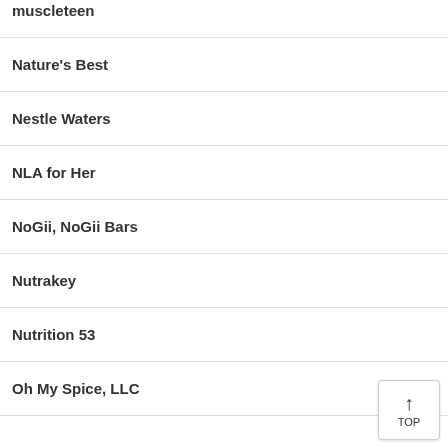muscleteen
Nature's Best
Nestle Waters
NLA for Her
NoGii, NoGii Bars
Nutrakey
Nutrition 53
Oh My Spice, LLC